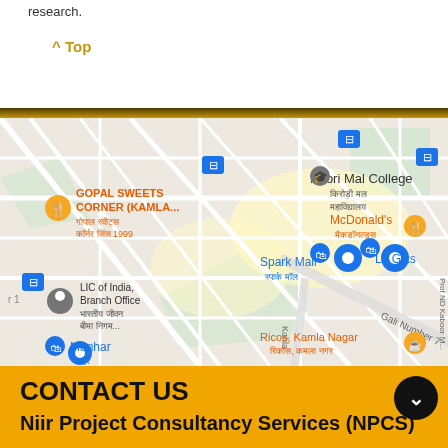research.
^ Top
[Figure (map): Google Maps view of Kamla Nagar, Delhi area showing Gopal Sweets Corner (KAMLA...), Kirori Mal College, Spark Mall, La Glits, McDonald's, LIC of India Branch Office, Manhar, Ricos Kamla Nagar, and street labels including Gali Number 7 and other roads.]
CONTACT US
Niir Project Consultancy Services (NPCS)